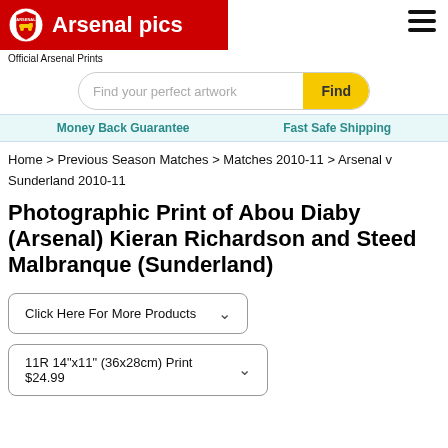Arsenal pics – Official Arsenal Prints
Find your perfect artwork | Find
Money Back Guarantee   Fast Safe Shipping
Home > Previous Season Matches > Matches 2010-11 > Arsenal v Sunderland 2010-11
Photographic Print of Abou Diaby (Arsenal) Kieran Richardson and Steed Malbranque (Sunderland)
Click Here For More Products
11R 14"x11" (36x28cm) Print $24.99